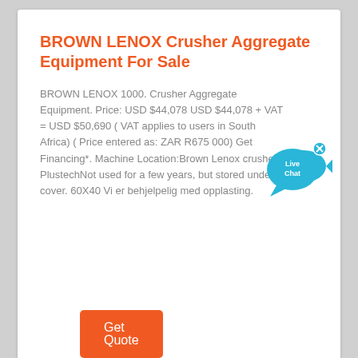BROWN LENOX Crusher Aggregate Equipment For Sale
BROWN LENOX 1000. Crusher Aggregate Equipment. Price: USD $44,078 USD $44,078 + VAT = USD $50,690 ( VAT applies to users in South Africa) ( Price entered as: ZAR R675 000) Get Financing*. Machine Location:Brown Lenox crusher - PlustechNot used for a few years, but stored under cover. 60X40 Vi er behjelpelig med opplasting.
[Figure (illustration): Live Chat button: blue speech bubble with fish icon and 'Live Chat' text, with a small X close button]
Get Quote